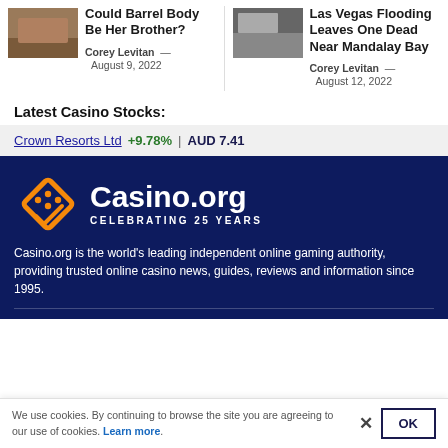[Figure (photo): Thumbnail photo for article about barrel body possibly being her brother]
Could Barrel Body Be Her Brother?
Corey Levitan — August 9, 2022
[Figure (photo): Thumbnail photo for Las Vegas flooding article]
Las Vegas Flooding Leaves One Dead Near Mandalay Bay
Corey Levitan — August 12, 2022
Latest Casino Stocks:
Crown Resorts Ltd +9.78% | AUD 7.41
[Figure (logo): Casino.org logo with orange diamond shape and white text reading Casino.org, CELEBRATING 25 YEARS]
Casino.org is the world's leading independent online gaming authority, providing trusted online casino news, guides, reviews and information since 1995.
We use cookies. By continuing to browse the site you are agreeing to our use of cookies. Learn more.